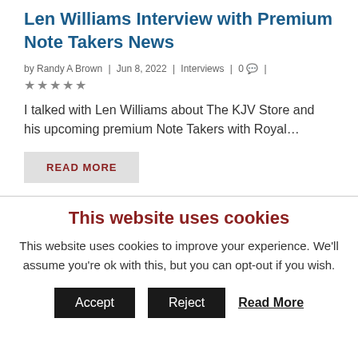Len Williams Interview with Premium Note Takers News
by Randy A Brown | Jun 8, 2022 | Interviews | 0 |
★★★★★
I talked with Len Williams about The KJV Store and his upcoming premium Note Takers with Royal...
READ MORE
This website uses cookies
This website uses cookies to improve your experience. We'll assume you're ok with this, but you can opt-out if you wish.
Accept  Reject  Read More